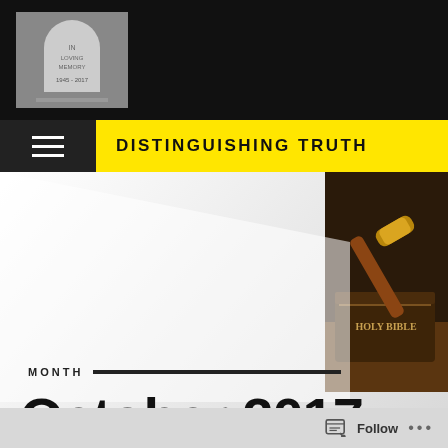[Figure (photo): Gravestone thumbnail image in black header bar]
DISTINGUISHING TRUTH
[Figure (photo): Bible with gavel resting on top, warm brown tones]
MONTH
October 2017
Follow ...